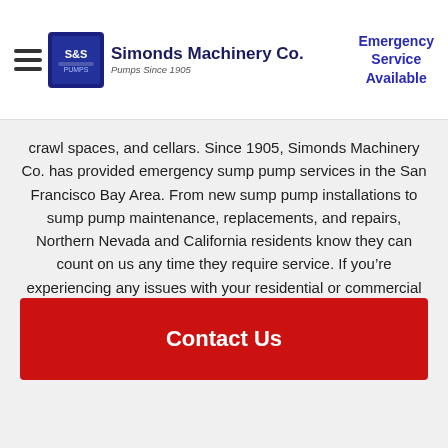Simonds Machinery Co. | Pumps Since 1905 | Emergency Service Available
crawl spaces, and cellars. Since 1905, Simonds Machinery Co. has provided emergency sump pump services in the San Francisco Bay Area. From new sump pump installations to sump pump maintenance, replacements, and repairs, Northern Nevada and California residents know they can count on us any time they require service. If you’re experiencing any issues with your residential or commercial sump pump system, we encourage you to contact us at (650) 589-9900 to request a free service estimate. We’d be glad to take a look for you!
Contact Us